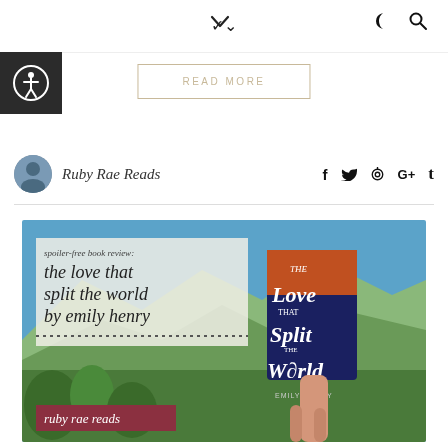navigation bar with chevron, moon icon, and search icon
[Figure (screenshot): READ MORE button with border]
[Figure (logo): Accessibility icon - person in circle on dark background]
Ruby Rae Reads
social icons: f (Facebook), Twitter bird, Pinterest, G+, Tumblr
[Figure (photo): Book review image for 'The Love That Split the World by Emily Henry' - outdoor desert/mountain scene with hand holding the book. Text overlay reads: spoiler-free book review: the love that split the world by emily henry. Dotted line separator. Ruby rae reads tag at bottom.]